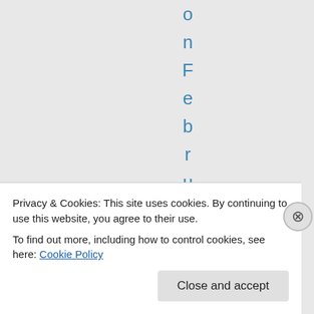o n F e b r u a r y 1 4 ,
Privacy & Cookies: This site uses cookies. By continuing to use this website, you agree to their use.
To find out more, including how to control cookies, see here: Cookie Policy
Close and accept